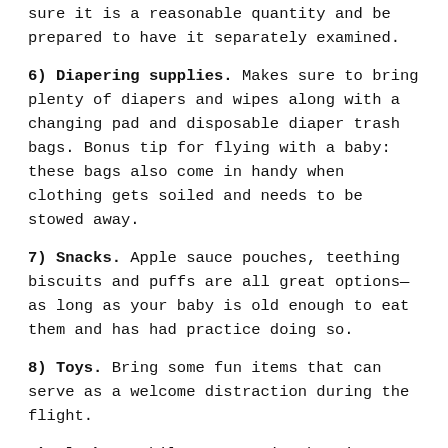sure it is a reasonable quantity and be prepared to have it separately examined.
6) Diapering supplies. Makes sure to bring plenty of diapers and wipes along with a changing pad and disposable diaper trash bags. Bonus tip for flying with a baby: these bags also come in handy when clothing gets soiled and needs to be stowed away.
7) Snacks. Apple sauce pouches, teething biscuits and puffs are all great options—as long as your baby is old enough to eat them and has had practice doing so.
8) Toys. Bring some fun items that can serve as a welcome distraction during the flight.
9) Blanket. While you are in the airport, you can